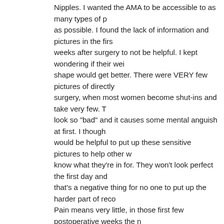Nipples. I wanted the AMA to be accessible to as many types of people as possible. I found the lack of information and pictures in the first weeks after surgery to not be helpful. I kept wondering if their weight/shape would get better. There were VERY few pictures of directly after surgery, when most women become shut-ins and take very few. They look so "bad" and it causes some mental anguish at first. I thought it would be helpful to put up these sensitive pictures to help other women know what they're in for. They won't look perfect the first day and that's a negative thing for no one to put up the harder part of recovery. Pain means very little, in those first few postoperative weeks the mirror is the judge and it's important to see that it gets better quickly.
As for the rage faces, that's because I wanted this AMA to be educational and the least "sexy" as possible. I'm serious about the lack of bare-breast post op pictures. ANYONE considering breast enlargement should know about this critical first month period.
Share Link
itechkhaleesi  19 karma  12/17/2016, 8:03:07 PM
Do they ever have to get replaced?
Share Link
ThatSquareChick  31 karma  12/17/2016, 8:08:34 PM